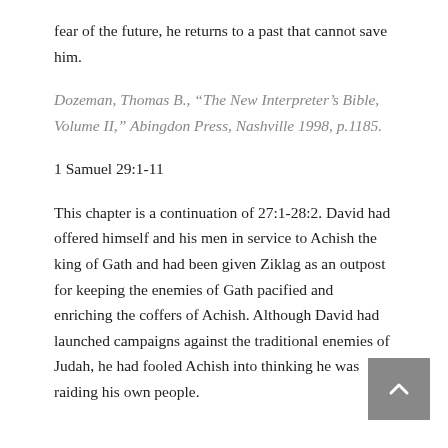fear of the future, he returns to a past that cannot save him.
Dozeman, Thomas B., “The New Interpreter’s Bible, Volume II,” Abingdon Press, Nashville 1998, p.1185.
1 Samuel 29:1-11
This chapter is a continuation of 27:1-28:2. David had offered himself and his men in service to Achish the king of Gath and had been given Ziklag as an outpost for keeping the enemies of Gath pacified and enriching the coffers of Achish. Although David had launched campaigns against the traditional enemies of Judah, he had fooled Achish into thinking he was raiding his own people.